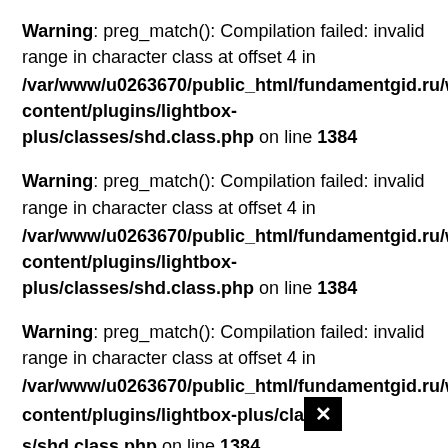Warning: preg_match(): Compilation failed: invalid range in character class at offset 4 in /var/www/u0263670/public_html/fundamentgid.ru/wp-content/plugins/lightbox-plus/classes/shd.class.php on line 1384
Warning: preg_match(): Compilation failed: invalid range in character class at offset 4 in /var/www/u0263670/public_html/fundamentgid.ru/wp-content/plugins/lightbox-plus/classes/shd.class.php on line 1384
Warning: preg_match(): Compilation failed: invalid range in character class at offset 4 in /var/www/u0263670/public_html/fundamentgid.ru/wp-content/plugins/lightbox-plus/classes/shd.class.php on line 1384